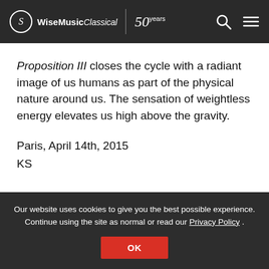Wise Music Classical | 50 years
Proposition III closes the cycle with a radiant image of us humans as part of the physical nature around us. The sensation of weightless energy elevates us high above the gravity.
Paris, April 14th, 2015
KS
Our website uses cookies to give you the best possible experience. Continue using the site as normal or read our Privacy Policy .